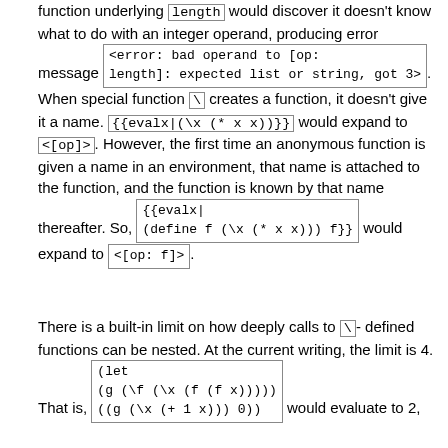function underlying `length` would discover it doesn't know what to do with an integer operand, producing error message `<error: bad operand to [op: length]: expected list or string, got 3>`. When special function `\` creates a function, it doesn't give it a name. `{{evalx|(\x (* x x))}}` would expand to `<[op]>`. However, the first time an anonymous function is given a name in an environment, that name is attached to the function, and the function is known by that name thereafter. So, `{{evalx|(define f (\x (* x x))) f}}` would expand to `<[op: f]>`.
There is a built-in limit on how deeply calls to `\`-defined functions can be nested. At the current writing, the limit is 4. That is, `(let (g (\f (\x (f (f x))))) ((g (\x (+ 1 x))) 0))` would evaluate to 2,